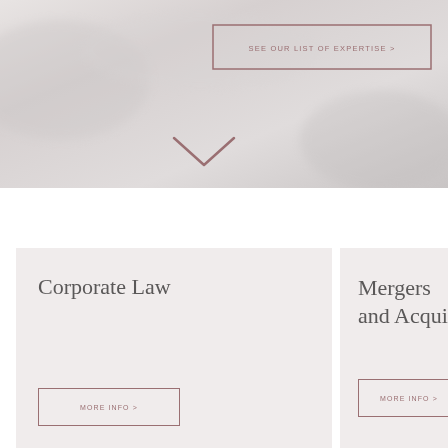[Figure (screenshot): Hero section with light grey/silver blurred background, featuring a bordered button labeled 'SEE OUR LIST OF EXPERTISE >' and a chevron/down-arrow symbol below it.]
SEE OUR LIST OF EXPERTISE >
Corporate Law
MORE INFO >
Mergers and Acqui
MORE INFO >